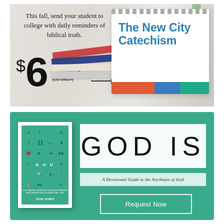[Figure (advertisement): Advertisement for The New City Catechism desk calendar. Light background with stacked books, spiral-bound desktop calendar showing 'The New City Catechism' in blue text with colored stripes (red, blue, teal). Text reads: 'This fall, send your student to college with daily reminders of biblical truth. $6 FREE SHIPPING (US ONLY)']
[Figure (advertisement): Advertisement on teal/green background for 'GOD IS: A Devotional Guide to the Attributes of God'. Shows book cover on left with icon grid, white box with 'GOD IS' in large thin font, subtitle text, and 'Request Now' button.]